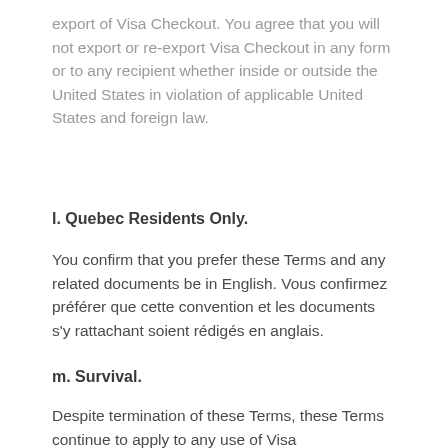export of Visa Checkout. You agree that you will not export or re-export Visa Checkout in any form or to any recipient whether inside or outside the United States in violation of applicable United States and foreign law.
l. Quebec Residents Only.
You confirm that you prefer these Terms and any related documents be in English. Vous confirmez préférer que cette convention et les documents s'y rattachant soient rédigés en anglais.
m. Survival.
Despite termination of these Terms, these Terms continue to apply to any use of Visa